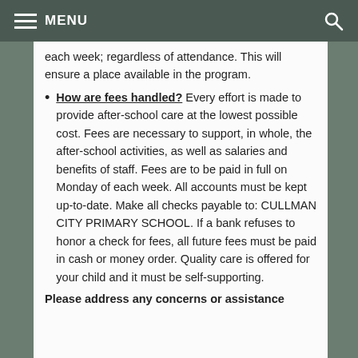MENU
each week; regardless of attendance. This will ensure a place available in the program.
How are fees handled? Every effort is made to provide after-school care at the lowest possible cost. Fees are necessary to support, in whole, the after-school activities, as well as salaries and benefits of staff. Fees are to be paid in full on Monday of each week. All accounts must be kept up-to-date. Make all checks payable to: CULLMAN CITY PRIMARY SCHOOL. If a bank refuses to honor a check for fees, all future fees must be paid in cash or money order. Quality care is offered for your child and it must be self-supporting.
Please address any concerns or assistance